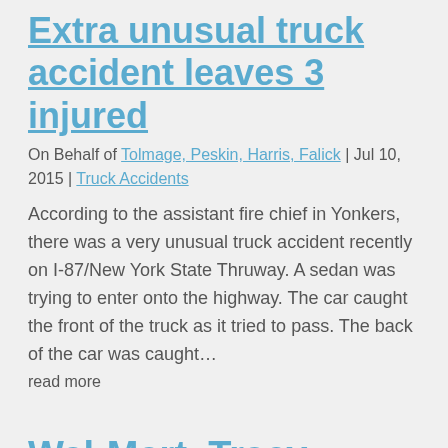Extra unusual truck accident leaves 3 injured
On Behalf of Tolmage, Peskin, Harris, Falick | Jul 10, 2015 | Truck Accidents
According to the assistant fire chief in Yonkers, there was a very unusual truck accident recently on I-87/New York State Thruway. A sedan was trying to enter onto the highway. The car caught the front of the truck as it tried to pass. The back of the car was caught…
read more
Wal-Mart, Tracy